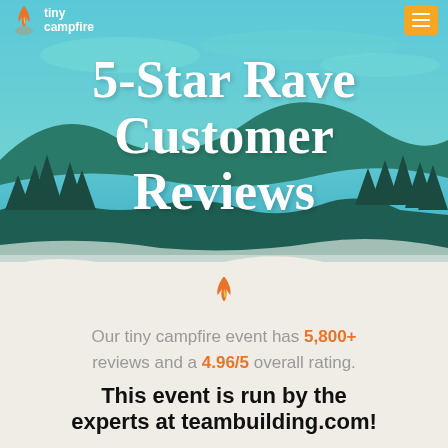tiny campfire
5-Star Rave Customer Reviews
[Figure (illustration): Illustrated landscape background with teal sky, mountains, pine trees, and a lake scene]
[Figure (illustration): Orange flame icon (tiny campfire logo)]
Our tiny campfire event has 5,800+ reviews and a 4.96/5 overall rating.
This event is run by the experts at teambuilding.com!